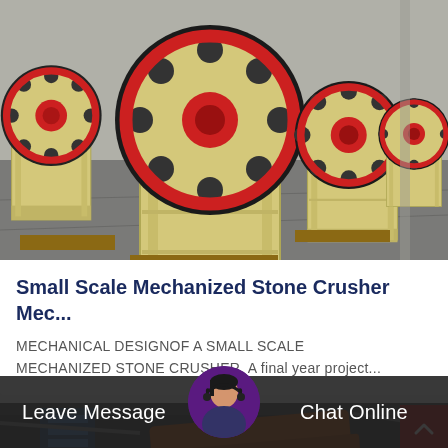[Figure (photo): Row of yellow jaw crusher machines with red and black flywheels in an industrial warehouse/yard setting. Multiple units lined up in perspective view.]
Small Scale Mechanized Stone Crusher Mec...
MECHANICAL DESIGNOF A SMALL SCALE MECHANIZED STONE CRUSHER  A final year project...
[Figure (photo): Industrial machinery background with orange conveyor or equipment visible.]